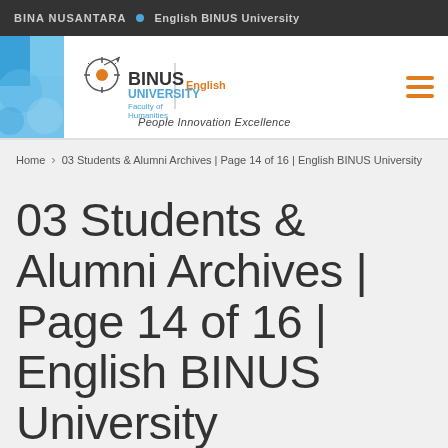BINA NUSANTARA · English BINUS University
[Figure (logo): BINUS University Faculty of Humanities English department logo with People Innovation Excellence tagline]
Home > 03 Students & Alumni Archives | Page 14 of 16 | English BINUS University
03 Students & Alumni Archives | Page 14 of 16 | English BINUS University